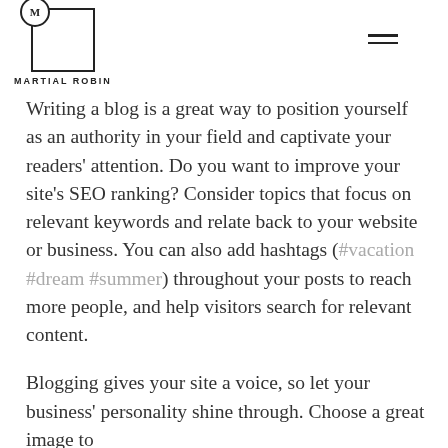Martial Robin
Writing a blog is a great way to position yourself as an authority in your field and captivate your readers' attention. Do you want to improve your site's SEO ranking? Consider topics that focus on relevant keywords and relate back to your website or business. You can also add hashtags (#vacation #dream #summer) throughout your posts to reach more people, and help visitors search for relevant content.
Blogging gives your site a voice, so let your business' personality shine through. Choose a great image to